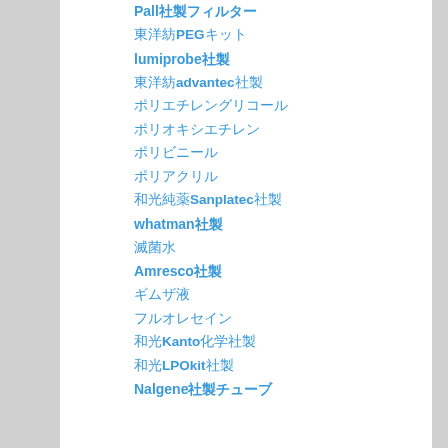Pall社製フィルター
東洋紡PEGキット
lumiprobe社製
東洋紡advantec社製
ポリエチレングリコール
ポリオキシエチレン
ポリビニール
ポリアクリル
和光純薬Sanplatec社製
whatman社製
滅菌水
Amresco社製
ギムザ液
フルオレセイン
和光Kanto化学社製
和光LPOkit社製
Nalgene社製チューブ
参考文献
Ranitidine Hydrochloride 塩酸ラニチジン